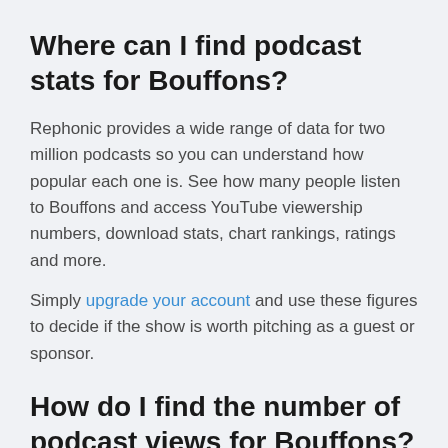Where can I find podcast stats for Bouffons?
Rephonic provides a wide range of data for two million podcasts so you can understand how popular each one is. See how many people listen to Bouffons and access YouTube viewership numbers, download stats, chart rankings, ratings and more.
Simply upgrade your account and use these figures to decide if the show is worth pitching as a guest or sponsor.
How do I find the number of podcast views for Bouffons?
There are two ways to find viewership numbers for podcasts on YouTube. First, you can search for the show on the channel and if it has an account, scroll through the videos to see how many views it gets per episode.